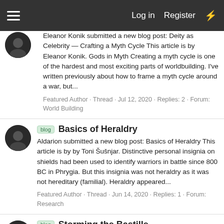Log in  Register
Eleanor Konik submitted a new blog post: Deity as Celebrity — Crafting a Myth Cycle This article is by Eleanor Konik. Gods in Myth Creating a myth cycle is one of the hardest and most exciting parts of worldbuilding. I've written previously about how to frame a myth cycle around a war, but...
Featured Author · Thread · Jul 12, 2020 · Replies: 2 · Forum: World Building
Basics of Heraldry
Aldarion submitted a new blog post: Basics of Heraldry This article is by by Toni Šušnjar. Distinctive personal insignia on shields had been used to identify warriors in battle since 800 BC in Phrygia. But this insignia was not heraldry as it was not hereditary (familial). Heraldry appeared...
Featured Author · Thread · Jun 14, 2020 · Replies: 1 · Forum: Research
Storming the Bastille
Featured author submitted a new blog post: Storming the Bastille This article is by B.K. Bass and is presented by Worldbuilding